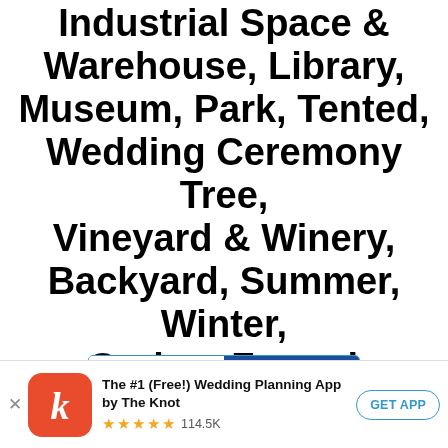Industrial Space & Warehouse, Library, Museum, Park, Tented, Wedding Ceremony Tree, Vineyard & Winery, Backyard, Summer, Winter, Spring, Formal Wedding Photos
Albums in All Areas ✏
[Figure (screenshot): Tab bar with PHOTOS and ALBUMS tabs, ALBUMS tab selected (blue background)]
[Figure (infographic): App download banner: The Knot app icon (red with white k), app name 'The #1 (Free!) Wedding Planning App by The Knot', 5 stars rating, 114.5K reviews, GET APP button]